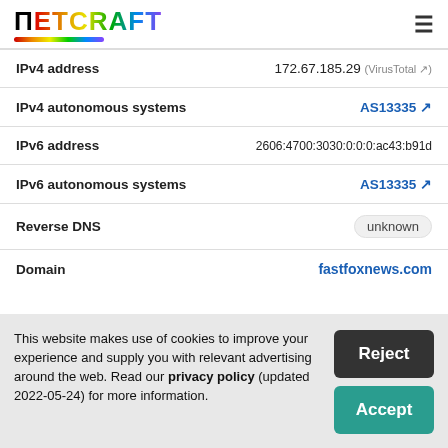Netcraft
| Field | Value |
| --- | --- |
| IPv4 address | 172.67.185.29 (VirusTotal ↗) |
| IPv4 autonomous systems | AS13335 ↗ |
| IPv6 address | 2606:4700:3030:0:0:0:ac43:b91d |
| IPv6 autonomous systems | AS13335 ↗ |
| Reverse DNS | unknown |
| Domain | fastfoxnews.com |
This website makes use of cookies to improve your experience and supply you with relevant advertising around the web. Read our privacy policy (updated 2022-05-24) for more information.